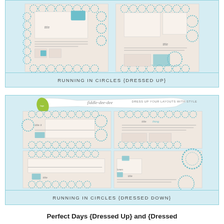[Figure (illustration): Product preview showing 'Running in Circles (Dressed Up)' scrapbooking layout templates with teal circle/gear decorative borders on a light blue background. Contains 4 layout thumbnail examples with dotted circle motifs.]
RUNNING IN CIRCLES {DRESSED UP}
[Figure (illustration): Product preview showing 'Running in Circles (Dressed Down)' scrapbooking layout templates with teal circle decorative borders. Features fiddle-dee-dee banner at top and text 'DRESS UP YOUR LAYOUTS WITH STYLE'. Contains 4 layout thumbnail examples with circle/gear dotted motifs.]
RUNNING IN CIRCLES {DRESSED DOWN}
Perfect Days {Dressed Up} and {Dressed